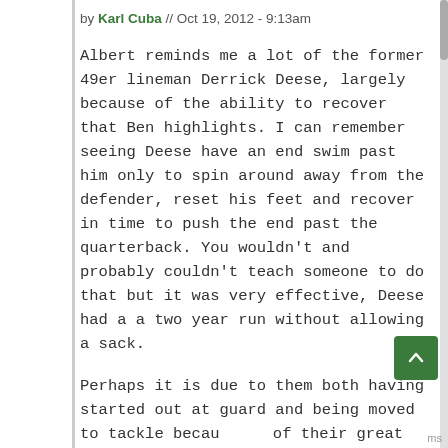by Karl Cuba // Oct 19, 2012 - 9:13am
Albert reminds me a lot of the former 49er lineman Derrick Deese, largely because of the ability to recover that Ben highlights. I can remember seeing Deese have an end swim past him only to spin around away from the defender, reset his feet and recover in time to push the end past the quarterback. You wouldn't and probably couldn't teach someone to do that but it was very effective, Deese had a a two year run without allowing a sack.
Perhaps it is due to them both having started out at guard and being moved to tackle because of their great feet, so they never really learned to orthodox technique at tackle.